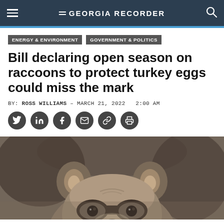GEORGIA RECORDER
ENERGY & ENVIRONMENT   GOVERNMENT & POLITICS
Bill declaring open season on raccoons to protect turkey eggs could miss the mark
BY: ROSS WILLIAMS - MARCH 21, 2022  2:00 AM
[Figure (photo): Close-up photo of a raccoon's face peeking up from the bottom of the frame, showing ears, eyes, and nose against a blurred dark background.]